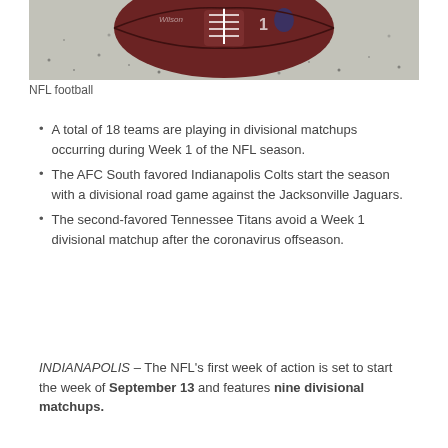[Figure (photo): Close-up photo of an NFL Wilson football resting on a snowy or salt-covered field surface, partially cropped showing the top half of the ball.]
NFL football
A total of 18 teams are playing in divisional matchups occurring during Week 1 of the NFL season.
The AFC South favored Indianapolis Colts start the season with a divisional road game against the Jacksonville Jaguars.
The second-favored Tennessee Titans avoid a Week 1 divisional matchup after the coronavirus offseason.
INDIANAPOLIS – The NFL's first week of action is set to start the week of September 13 and features nine divisional matchups.